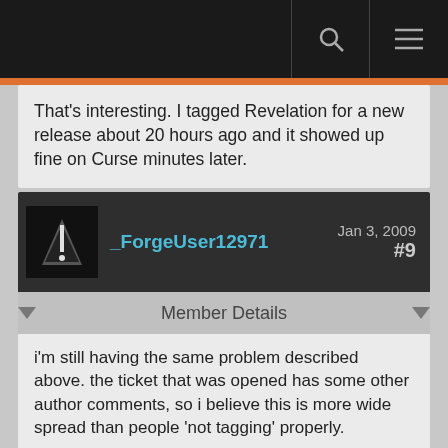That's interesting. I tagged Revelation for a new release about 20 hours ago and it showed up fine on Curse minutes later.
_ForgeUser12971
Jan 3, 2009
#9
Member Details
i'm still having the same problem described above. the ticket that was opened has some other author comments, so i believe this is more wide spread than people 'not tagging' properly.

if you review the ticket, you'll see these projects are tagged properly, and they are just not getting pushed to curse.